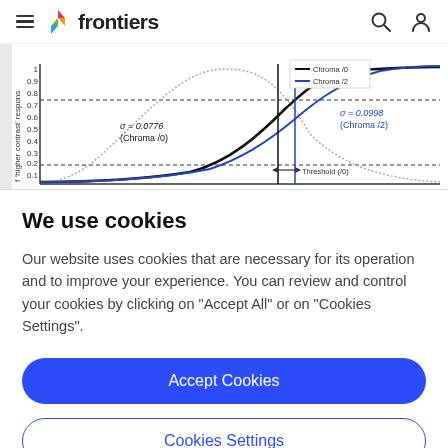frontiers
[Figure (continuous-plot): Scientific chart showing S-curves and dotted bell curve. Legend shows Chroma /0 (black) and Chroma /2 (blue). Annotations: σ = 0.0776 (Chroma /0) in black, σ = 0.0998 (Chroma /2) in blue. Y-axis labeled "f 'higher contrast' respons" with values 0.1 to 1. Threshold (/0) label with arrow. Horizontal dashed lines at 0.25 and 0.75.]
We use cookies
Our website uses cookies that are necessary for its operation and to improve your experience. You can review and control your cookies by clicking on "Accept All" or on "Cookies Settings".
Accept Cookies
Cookies Settings